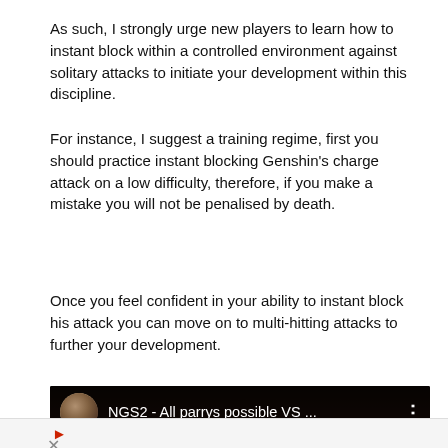As such, I strongly urge new players to learn how to instant block within a controlled environment against solitary attacks to initiate your development within this discipline.
For instance, I suggest a training regime, first you should practice instant blocking Genshin's charge attack on a low difficulty, therefore, if you make a mistake you will not be penalised by death.
Once you feel confident in your ability to instant block his attack you can move on to multi-hitting attacks to further your development.
[Figure (screenshot): YouTube video thumbnail/player showing 'NGS2 - All parrys possible VS ...' with avatar icon, three-dot menu, and a phone button overlay with chevron]